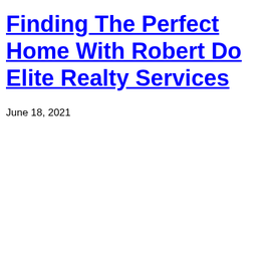Finding The Perfect Home With Robert Do Elite Realty Services
June 18, 2021